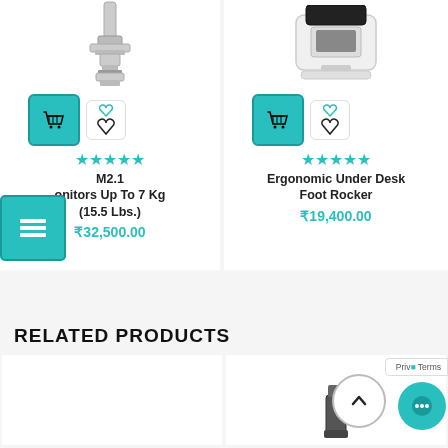[Figure (photo): Monitor arm product image (top portion cut off at top)]
[Figure (photo): Ergonomic foot rocker product image (top portion cut off)]
M2.1 onitors Up To 7 Kg (15.5 Lbs.)
₹32,500.00
Ergonomic Under Desk Foot Rocker
₹19,400.00
RELATED PRODUCTS
[Figure (photo): Related product card 1 (partially visible)]
[Figure (photo): Related product card 2 with small device image]